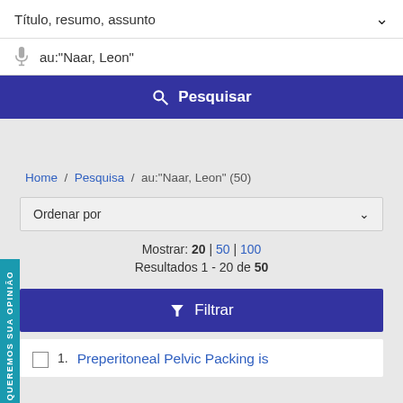Título, resumo, assunto
au:"Naar, Leon"
Pesquisar
Home / Pesquisa / au:"Naar, Leon" (50)
Ordenar por
Mostrar: 20 | 50 | 100
Resultados 1 - 20 de 50
Filtrar
1. Preperitoneal Pelvic Packing is